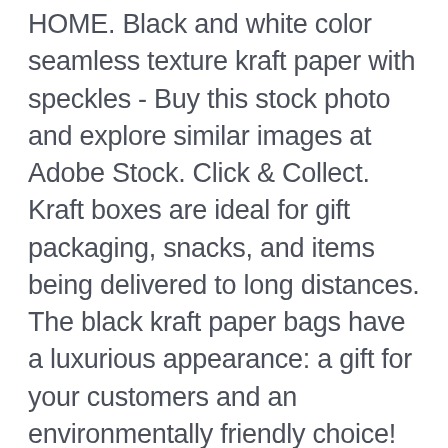HOME. Black and white color seamless texture kraft paper with speckles - Buy this stock photo and explore similar images at Adobe Stock. Click & Collect. Kraft boxes are ideal for gift packaging, snacks, and items being delivered to long distances. The black kraft paper bags have a luxurious appearance: a gift for your customers and an environmentally friendly choice! Kraft paper carrier bags at the best prices. Width, height and bottom gusset are three essential dimensions of the stand up pouches. Happy days :), Don't forget to sign up for our flash sale and special offer emails here, Describe the type of fold / crease required. Free postage. Oct 25, 2014 - Black And Kraft Printed